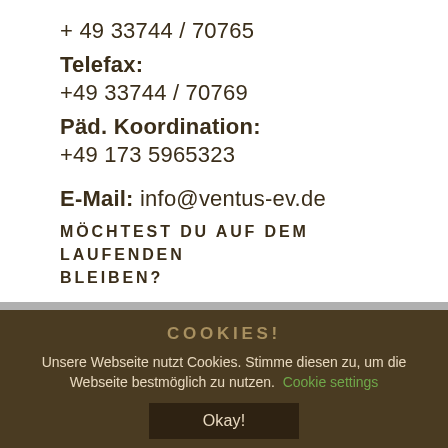+ 49 33744 / 70765
Telefax:
+49 33744 / 70769
Päd. Koordination:
+49 173 5965323
E-Mail: info@ventus-ev.de
MÖCHTEST DU AUF DEM LAUFENDEN BLEIBEN?
COOKIES!
Unsere Webseite nutzt Cookies. Stimme diesen zu, um die Webseite bestmöglich zu nutzen. Cookie settings
Okay!